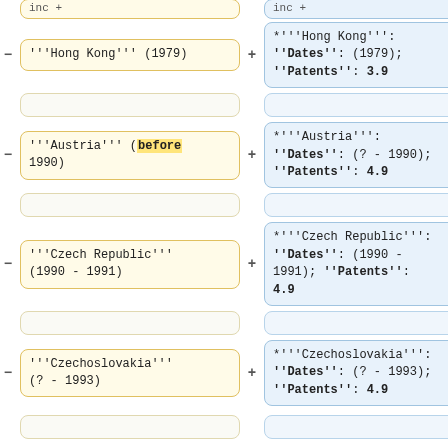'''Hong Kong''' (1979)
*'''Hong Kong''': ''Dates'': (1979); ''Patents'': 3.9
'''Austria''' (before 1990)
*'''Austria''': ''Dates'': (? - 1990); ''Patents'': 4.9
'''Czech Republic''' (1990 - 1991)
*'''Czech Republic''': ''Dates'': (1990 - 1991); ''Patents'': 4.9
'''Czechoslovakia''' (? - 1993)
*'''Czechoslovakia''': ''Dates'': (? - 1993); ''Patents'': 4.9